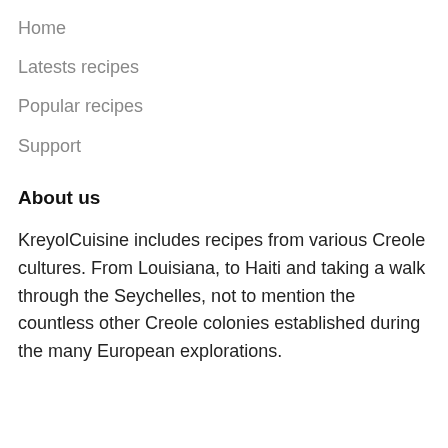Home
Latests recipes
Popular recipes
Support
About us
KreyolCuisine includes recipes from various Creole cultures. From Louisiana, to Haiti and taking a walk through the Seychelles, not to mention the countless other Creole colonies established during the many European explorations.